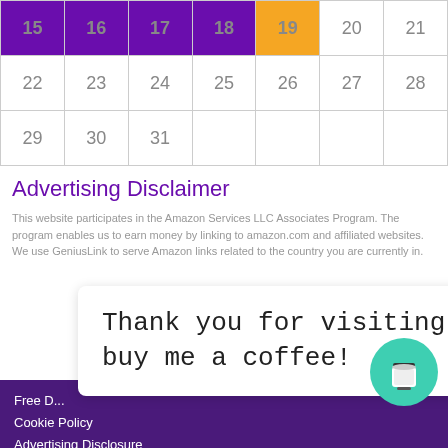| Sun | Mon | Tue | Wed | Thu | Fri | Sat |
| --- | --- | --- | --- | --- | --- | --- |
| 15 | 16 | 17 | 18 | 19 | 20 | 21 |
| 22 | 23 | 24 | 25 | 26 | 27 | 28 |
| 29 | 30 | 31 |  |  |  |  |
Advertising Disclaimer
This website participates in the Amazon Services LLC Associates Program. The program enables us to earn money by linking to amazon.com and affiliated websites. We use GeniusLink to serve Amazon links related to the country you are currently in.
Thank you for visiting. You can now buy me a coffee!
Free D...
Cookie Policy
Advertising Disclosure